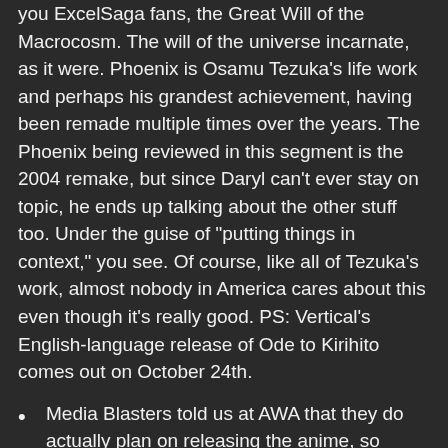you ExcelSaga fans, the Great Will of the Macrocosm. The will of the universe incarnate, as it were. Phoenix is Osamu Tezuka's life work and perhaps his grandest achievement, having been remade multiple times over the years. The Phoenix being reviewed in this segment is the 2004 remake, but since Daryl can't ever stay on topic, he ends up talking about the other stuff too. Under the guise of "putting things in context," you see. Of course, like all of Tezuka's work, almost nobody in America cares about this even though it's really good. PS: Vertical's English-language release of Ode to Kirihito comes out on October 24th.
Media Blasters told us at AWA that they do actually plan on releasing the anime, so instead of linking to a torrent for the series, here's the opening so you can see how nice this show looks; Youtube/Google Video doesn't cut it
Viz Media's excellent release of the Phoenix manga –